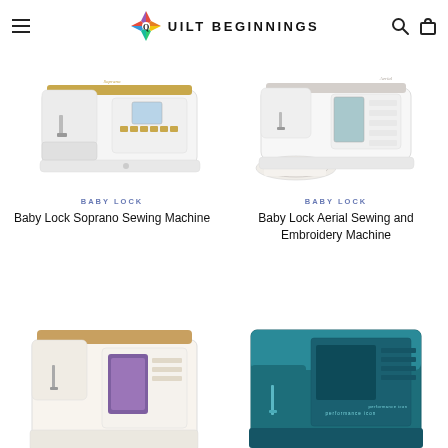Quilt Beginnings
[Figure (photo): Baby Lock Soprano Sewing Machine product photo - white sewing machine with gold accents and digital display]
BABY LOCK
Baby Lock Soprano Sewing Machine
[Figure (photo): Baby Lock Aerial Sewing and Embroidery Machine product photo - white and silver machine with embroidery hoop]
BABY LOCK
Baby Lock Aerial Sewing and Embroidery Machine
[Figure (photo): Sewing machine product photo - gold/bronze and white machine, partially visible]
[Figure (photo): Performance Icon sewing machine - teal/dark teal colored machine, partially visible]